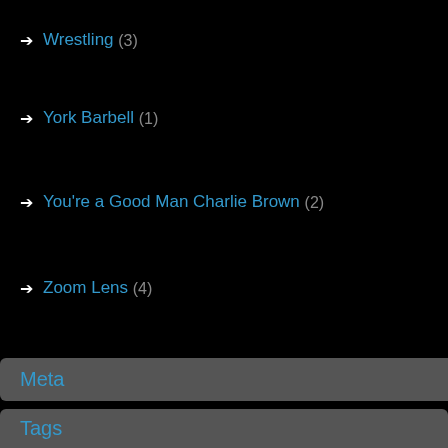Wrestling (3)
York Barbell (1)
You're a Good Man Charlie Brown (2)
Zoom Lens (4)
Meta
Log in
Entries RSS
Comments RSS
WordPress.org
Tags